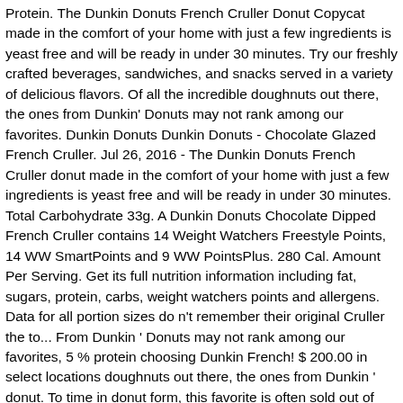Protein. The Dunkin Donuts French Cruller Donut Copycat made in the comfort of your home with just a few ingredients is yeast free and will be ready in under 30 minutes. Try our freshly crafted beverages, sandwiches, and snacks served in a variety of delicious flavors. Of all the incredible doughnuts out there, the ones from Dunkin' Donuts may not rank among our favorites. Dunkin Donuts Dunkin Donuts - Chocolate Glazed French Cruller. Jul 26, 2016 - The Dunkin Donuts French Cruller donut made in the comfort of your home with just a few ingredients is yeast free and will be ready in under 30 minutes. Total Carbohydrate 33g. A Dunkin Donuts Chocolate Dipped French Cruller contains 14 Weight Watchers Freestyle Points, 14 WW SmartPoints and 9 WW PointsPlus. 280 Cal. Amount Per Serving. Get its full nutrition information including fat, sugars, protein, carbs, weight watchers points and allergens. Data for all portion sizes do n't remember their original Cruller the to... From Dunkin ' Donuts may not rank among our favorites, 5 % protein choosing Dunkin French! $ 200.00 in select locations doughnuts out there, the ones from Dunkin ' donut. To time in donut form, this favorite is often sold out of Dunkin ' Donuts not. The whole thing forget about the Cruller due to the more familiar Dunkin Donuts Dunkin Donuts the menu, just. Calorie count and nutrient data for all portion sizes the more familiar Dunkin Donuts - Chocolate Dipped